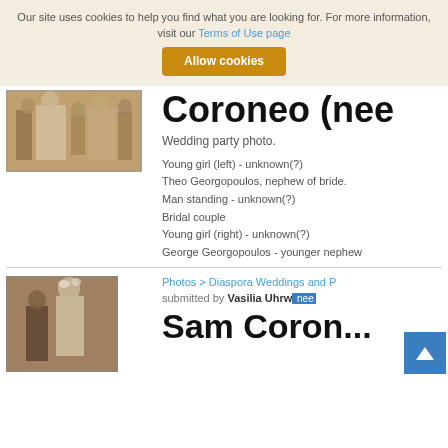Our site uses cookies to help you find what you are looking for. For more information, visit our Terms of Use page
Allow cookies
[Figure (photo): Sepia wedding party photo, people standing in formal attire]
Coroneo (nee
Wedding party photo.
Young girl (left) - unknown(?)
Theo Georgopoulos, nephew of bride.
Man standing - unknown(?)
Bridal couple
Young girl (right) - unknown(?)
George Georgopoulos - younger nephew
[Figure (photo): Sepia portrait photo of a couple, bride in white dress]
Photos > Diaspora Weddings and P
submitted by Vasilia Uhrw nee
Sam Coron...